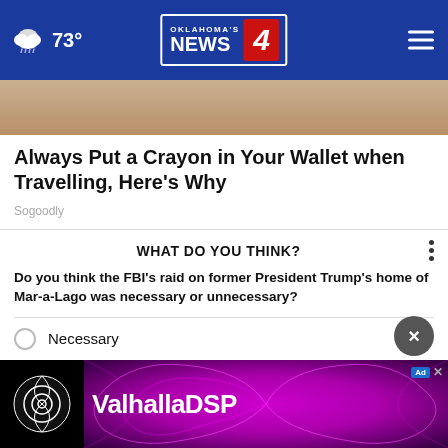Oklahoma's News 4 — 73°
[Figure (photo): Partial image of hands/objects, cropped at top of article]
Always Put a Crayon in Your Wallet when Travelling, Here's Why
Sogoodly
WHAT DO YOU THINK?
Do you think the FBI's raid on former President Trump's home of Mar-a-Lago was necessary or unnecessary?
Necessary
Unnecessary
[Figure (screenshot): ValhallaDSP advertisement banner with psychedelic purple/black swirl background]
Other / No opinion